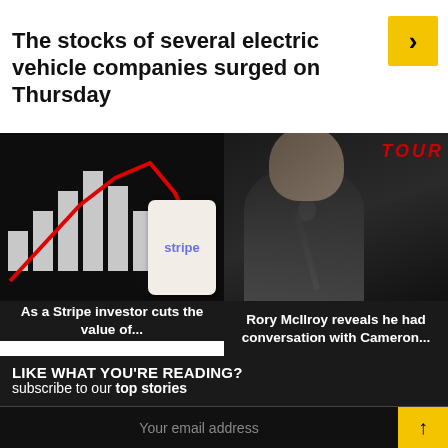The stocks of several electric vehicle companies surged on Thursday
[Figure (photo): Stock chart image with rising bar chart and red trend line, overlaid with a phone showing Stripe logo]
[Figure (photo): Rory McIlroy at a press conference with TOUR CHAMPIONSHIP text in background]
As a Stripe investor cuts the value of...
Rory McIlroy reveals he had conversation with Cameron...
LIKE WHAT YOU'RE READING?
subscribe to our top stories
Your email address